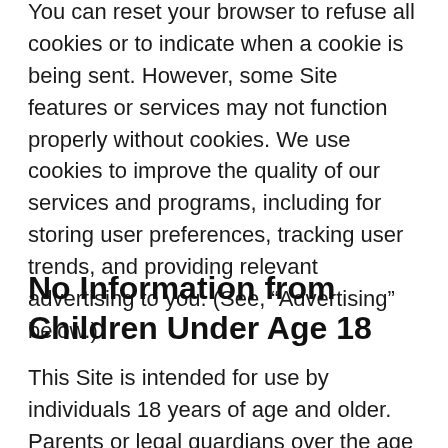You can reset your browser to refuse all cookies or to indicate when a cookie is being sent. However, some Site features or services may not function properly without cookies. We use cookies to improve the quality of our services and programs, including for storing user preferences, tracking user trends, and providing relevant advertising to you. (See, “Advertising” below.)
No Information from Children Under Age 18
This Site is intended for use by individuals 18 years of age and older. Parents or legal guardians over the age of 18 may open